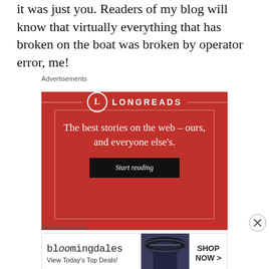it was just you. Readers of my blog will know that virtually everything that has broken on the boat was broken by operator error, me!
Advertisements
[Figure (illustration): Longreads advertisement with red background. Logo with circle 'L' and 'LONGREADS' text. Tagline: 'The best stories on the web – ours, and everyone else's.' with a 'Start reading' button.]
Advertisements
[Figure (illustration): Bloomingdale's advertisement showing logo, 'View Today's Top Deals!' text, model with hat, and 'SHOP NOW >' button.]